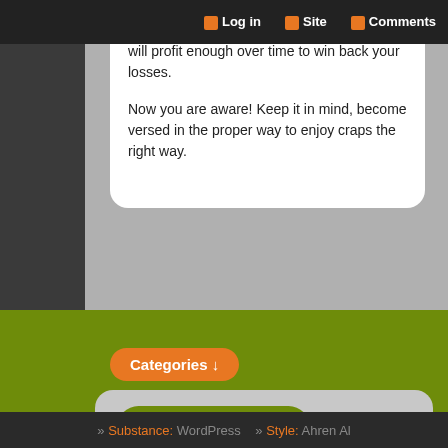Log in  Site  Comments
one of those idiot players that no it all, who will profit enough over time to win back your losses.
Now you are aware! Keep it in mind, become versed in the proper way to enjoy craps the right way.
Categories ↓
Leave a Reply
You must be logged in to post a comment.
» Substance: WordPress  » Style: Ahren Al